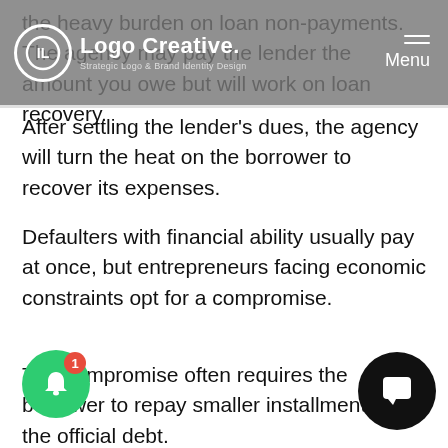Logo Creative. — Strategic Logo & Brand Identity Design | Menu
the heavy burden on loan non-payments. The agency may pay the lender the amount you owe but will work on loan recovery.
After settling the lender's dues, the agency will turn the heat on the borrower to recover its expenses.
Defaulters with financial ability usually pay at once, but entrepreneurs facing economic constraints opt for a compromise.
The compromise often requires the borrower to repay smaller installments than the official debt.
If SBA accepts your loan payment plans, it can be settled because the case is over. However, failure to settle will mean that the agency will have no option but to submit your accounts for collection at the Treasury